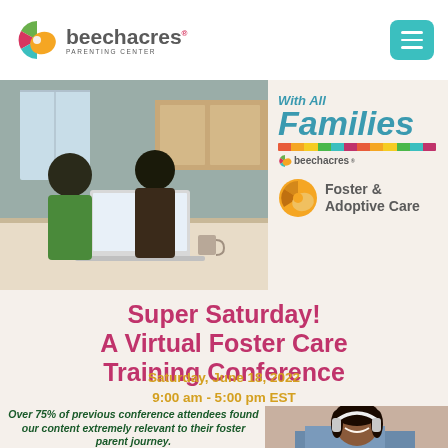beechacres PARENTING CENTER
[Figure (photo): Couple looking at a laptop together in a kitchen setting]
[Figure (logo): With All Families - beechacres Foster & Adoptive Care logo]
Super Saturday! A Virtual Foster Care Training Conference
Saturday, June 18, 2022
9:00 am - 5:00 pm EST
Over 75% of previous conference attendees found our content extremely relevant to their foster parent journey.
[Figure (photo): Smiling young woman with headphones]